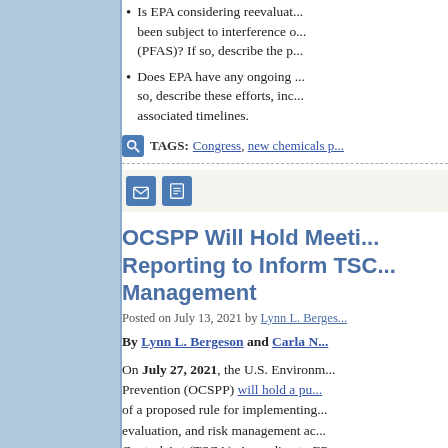Is EPA considering reevaluation of chemicals that have been subject to interference or contamination from PFAS? If so, describe the process.
Does EPA have any ongoing efforts to address PFAS? If so, describe these efforts, including associated timelines.
TAGS: Congress, new chemicals p...
OCSPP Will Hold Meeting on Reporting to Inform TSCA Risk Management
Posted on July 13, 2021 by Lynn L. Bergeson
By Lynn L. Bergeson and Carla N...
On July 27, 2021, the U.S. Environmental Protection Prevention (OCSPP) will hold a public meeting of a proposed rule for implementing evaluation, and risk management activities under the Toxic Substances Control Act (TSCA). According to EPA, the Chemical Data Reporting (CDR) pro...